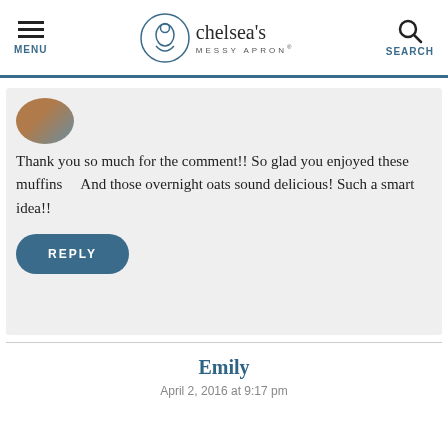MENU | chelsea's MESSY APRON® | SEARCH
[Figure (photo): Partial avatar photo at top of comment block]
Thank you so much for the comment!! So glad you enjoyed these muffins    And those overnight oats sound delicious! Such a smart idea!!
REPLY
Emily
April 2, 2016 at 9:17 pm